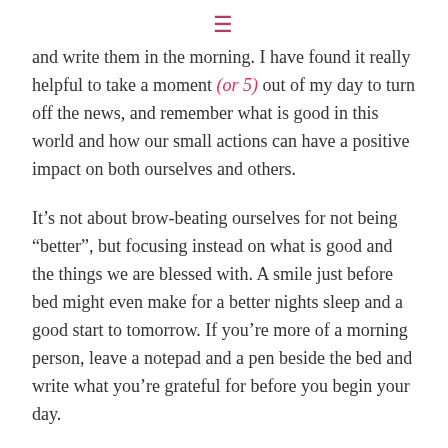≡
and write them in the morning. I have found it really helpful to take a moment (or 5) out of my day to turn off the news, and remember what is good in this world and how our small actions can have a positive impact on both ourselves and others.
It's not about brow-beating ourselves for not being "better", but focusing instead on what is good and the things we are blessed with. A smile just before bed might even make for a better nights sleep and a good start to tomorrow. If you're more of a morning person, leave a notepad and a pen beside the bed and write what you're grateful for before you begin your day.
After you've tried it yourself, have your family join in. They